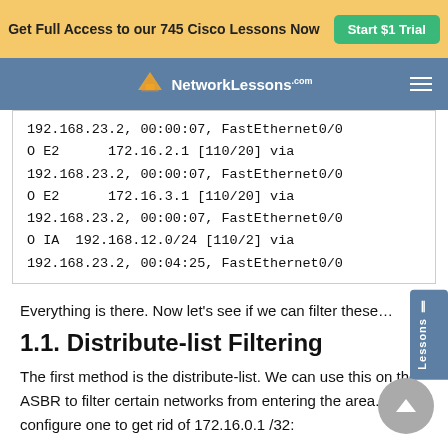Get Full Access to our 745 Cisco Lessons Now  Start $1 Trial
[Figure (logo): NetworkLessons.com logo with navigation bar]
192.168.23.2, 00:00:07, FastEthernet0/0
O E2      172.16.2.1 [110/20] via
192.168.23.2, 00:00:07, FastEthernet0/0
O E2      172.16.3.1 [110/20] via
192.168.23.2, 00:00:07, FastEthernet0/0
O IA  192.168.12.0/24 [110/2] via
192.168.23.2, 00:04:25, FastEthernet0/0
Everything is there. Now let's see if we can filter these…
1.1. Distribute-list Filtering
The first method is the distribute-list. We can use this on the ASBR to filter certain networks from entering the area. Let's configure one to get rid of 172.16.0.1 /32: